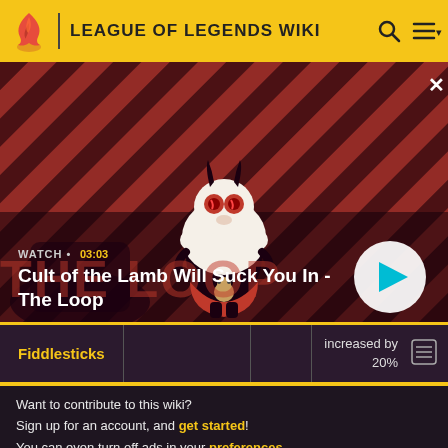LEAGUE OF LEGENDS WIKI
[Figure (screenshot): Video thumbnail showing a cartoon Cult of the Lamb character (demon lamb with horns and red eyes) against a diagonal red and dark purple striped background. Text overlay shows 'WATCH • 03:03' and 'Cult of the Lamb Will Suck You In - The Loop' with a play button on the right.]
Fiddlesticks | increased by 20%
Want to contribute to this wiki? Sign up for an account, and get started! You can even turn off ads in your preferences.